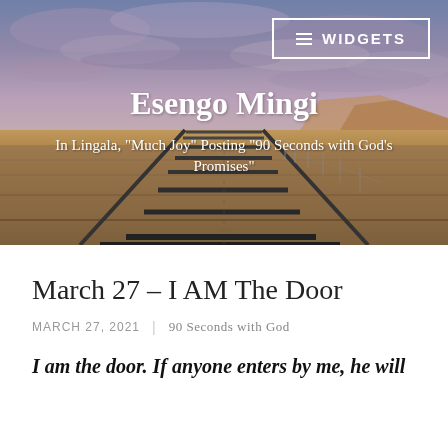[Figure (photo): Aerial perspective of desert railroad tracks receding into the distance under a dramatic cloudy sky with red rock mesas visible on the right side. The scene has warm browns and purples in the landscape and atmosphere.]
WIDGETS
Esengo Mingi
In Lingala, "Much Joy" Posting "90 Seconds with God's Promises"
March 27 – I AM The Door
MARCH 27, 2021 | 90 Seconds with God
I am the door. If anyone enters by me, he will